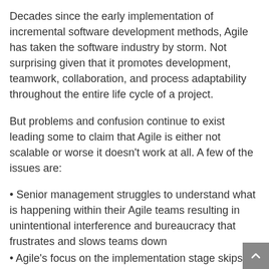Decades since the early implementation of incremental software development methods, Agile has taken the software industry by storm. Not surprising given that it promotes development, teamwork, collaboration, and process adaptability throughout the entire life cycle of a project.
But problems and confusion continue to exist leading some to claim that Agile is either not scalable or worse it doesn't work at all. A few of the issues are:
• Senior management struggles to understand what is happening within their Agile teams resulting in unintentional interference and bureaucracy that frustrates and slows teams down
• Agile's focus on the implementation stage skips an important creative process that occurs outside of prototyping or working software